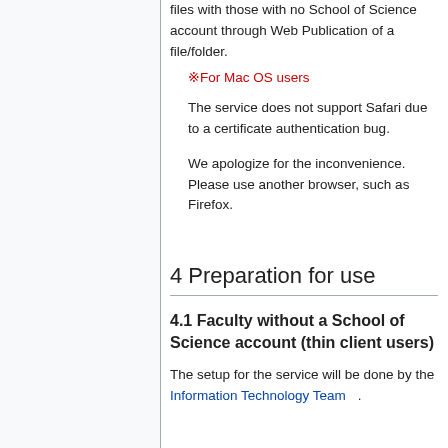files with those with no School of Science account through Web Publication of a file/folder.
※For Mac OS users
The service does not support Safari due to a certificate authentication bug.
We apologize for the inconvenience. Please use another browser, such as Firefox.
4 Preparation for use
4.1 Faculty without a School of Science account (thin client users)
The setup for the service will be done by the Information Technology Team.